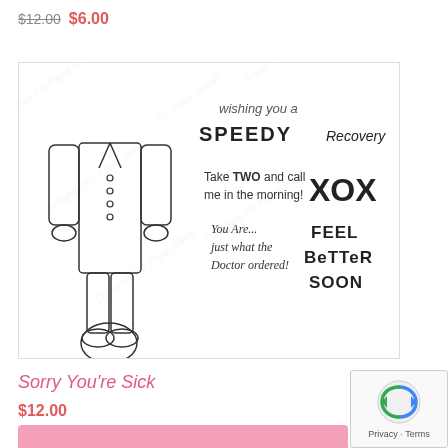$12.00 $6.00
[Figure (illustration): A rubber stamp set illustration showing a doctor figure outline on the left and various sentiments: 'wishing you a SPEEDY Recovery', 'Take TWO and call me in the morning!', 'XOX', 'You Are... just what the Doctor ordered!', 'FEEL BETTER SOON'. Watermarked with 'Designed For Paper Sweet' repeated diagonally.]
Sorry You're Sick
$12.00
[Figure (photo): Bottom portion of a pink product packaging image, partially visible.]